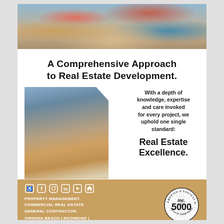[Figure (photo): Top photo of a living room with sofa, colorful pillows in blue, orange, and pink tones]
A Comprehensive Approach to Real Estate Development.
[Figure (photo): Construction site photo showing a multi-story residential building under construction with crane and dirt ground]
With a depth of knowledge, expertise and care invoked for every project, we uphold one single standard:
Real Estate Excellence.
[Figure (logo): Inc. 5000 America's Fastest-Growing Private Companies badge/seal in black and white circular design]
PROPERTY MANAGEMENT.
COMMERCIAL REAL ESTATE.
GENERAL CONTRACTOR.
VIRGINIA BEACH | RICHMOND | CHARLOTTESVILLE